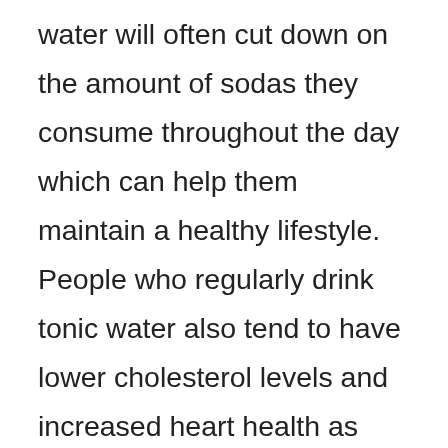water will often cut down on the amount of sodas they consume throughout the day which can help them maintain a healthy lifestyle. People who regularly drink tonic water also tend to have lower cholesterol levels and increased heart health as well. Tonic water has been shown to aid in weight loss, help with digestion, and even cure heart conditions. Tonic water is typically loved by many people, but not everyone enjoys